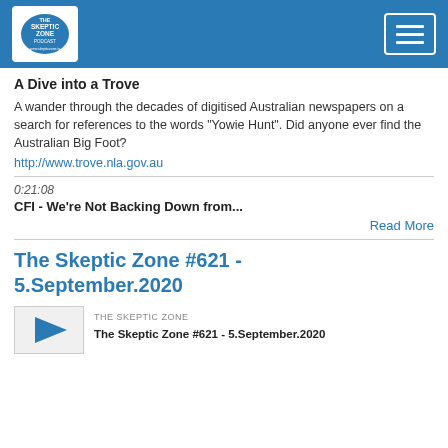The Skeptic Zone Podcast
A Dive into a Trove
A wander through the decades of digitised Australian newspapers on a search for references to the words "Yowie Hunt". Did anyone ever find the Australian Big Foot?
http://www.trove.nla.gov.au
0:21:08
CFI - We're Not Backing Down from...
Read More
The Skeptic Zone #621 - 5.September.2020
THE SKEPTIC ZONE
The Skeptic Zone #621 - 5.September.2020